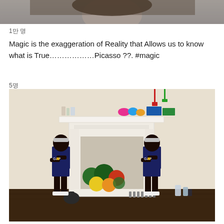[Figure (photo): Top partial photo of a person, cropped at top of page]
1만 명
Magic is the exaggeration of Reality that Allows us to know what is True………………Picasso ??. #magic
5명
[Figure (photo): Two young girls in matching navy outfits with white sneakers and headbands, standing in front of a white fireplace mantle with exercise equipment and colorful balls]